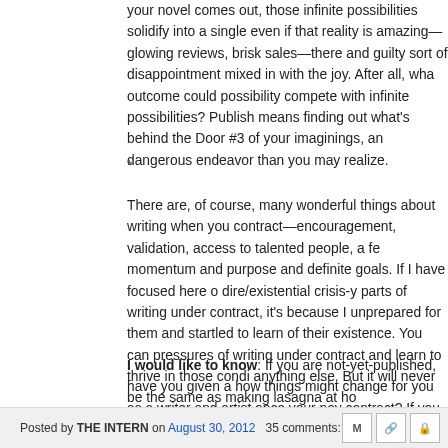your novel comes out, those infinite possibilities solidify into a single even if that reality is amazing—glowing reviews, brisk sales—there and guilty sort of disappointment mixed in with the joy. After all, wha outcome could possibility compete with infinite possibilities? Publish means finding out what's behind the Door #3 of your imaginings, an dangerous endeavor than you may realize.
*
There are, of course, many wonderful things about writing when you contract—encouragement, validation, access to talented people, a fe momentum and purpose and definite goals. If I have focused here o dire/existential crisis-y parts of writing under contract, it's because I unprepared for them and startled to learn of their existence. You can pressures of writing under contract and learn to thrive in those condi anything else. But it will never be the same as making lasagna at ho
I would like to know: If you are not-yet-published, have you given a how things might change for you as a writer and artist once your nov contract? If you have published a book or are under contract, what c say about that experience?
Posted by THE INTERN on August 30, 2012   35 comments: